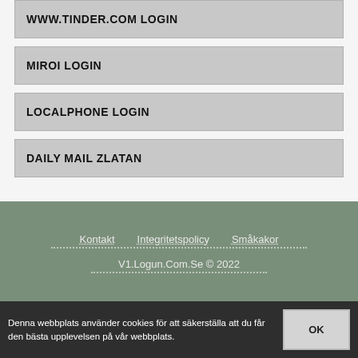WWW.TINDER.COM LOGIN
MIROI LOGIN
LOCALPHONE LOGIN
DAILY MAIL ZLATAN
Kontakt   Integritetspolicy   Småkakor
V1.Logun.Com.Se © 2022
Denna webbplats använder cookies för att säkerställa att du får den bästa upplevelsen på vår webbplats.